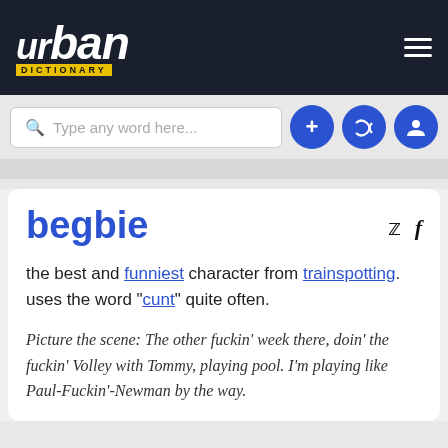urban dictionary
[Figure (screenshot): Urban Dictionary website header with logo, search bar, and navigation icons]
begbie
the best and funniest character from trainspotting. uses the word "cunt" quite often.
Picture the scene: The other fuckin' week there, doin' the fuckin' Volley with Tommy, playing pool. I'm playing like Paul-Fuckin'-Newman by the way.